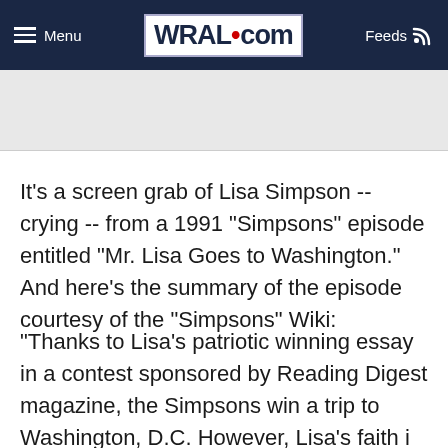Menu  WRAL.com  Feeds
[Figure (other): Gray advertisement banner area]
It's a screen grab of Lisa Simpson -- crying -- from a 1991 "Simpsons" episode entitled "Mr. Lisa Goes to Washington." And here's the summary of the episode courtesy of the "Simpsons" Wiki:
"Thanks to Lisa's patriotic winning essay in a contest sponsored by Reading Digest magazine, the Simpsons win a trip to Washington, D.C. However, Lisa's faith i...